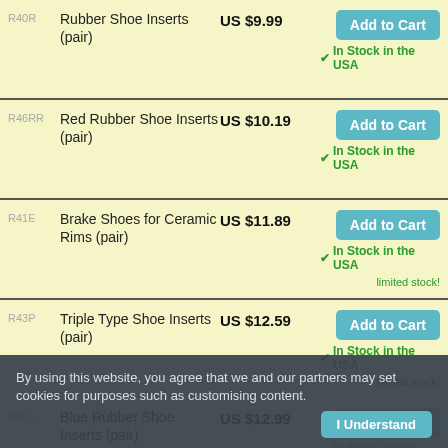| SKU | Name | Price | Action |
| --- | --- | --- | --- |
| R40R | Rubber Shoe Inserts (pair) | US $9.99 | Add to Cart / In Stock in the USA |
| R46RR | Red Rubber Shoe Inserts (pair) | US $10.19 | Add to Cart / In Stock in the USA |
| R41E | Brake Shoes for Ceramic Rims (pair) | US $11.89 | Add to Cart / In Stock in the USA / limited stock! |
| R43P | Triple Type Shoe Inserts (pair) | US $12.59 | Add to Cart / In Stock in the USA / limited stock! |
| R45? | Blue Rubber Shoe Inserts (pair) | US $12.99 | Add to Cart / In Stock in the USA / limited stock! |
By using this website, you agree that we and our partners may set cookies for purposes such as customising content.